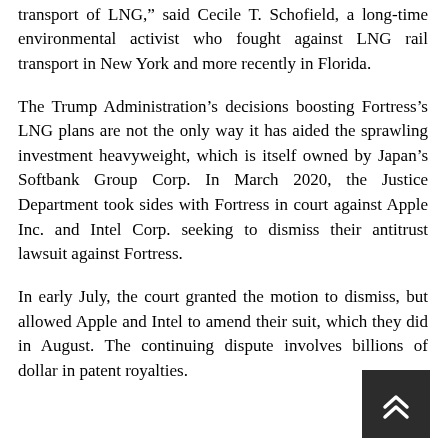outstanding indebtedness by legalizing rail tank car transport of LNG," said Cecile T. Schofield, a long-time environmental activist who fought against LNG rail transport in New York and more recently in Florida.
The Trump Administration's decisions boosting Fortress's LNG plans are not the only way it has aided the sprawling investment heavyweight, which is itself owned by Japan's Softbank Group Corp. In March 2020, the Justice Department took sides with Fortress in court against Apple Inc. and Intel Corp. seeking to dismiss their antitrust lawsuit against Fortress.
In early July, the court granted the motion to dismiss, but allowed Apple and Intel to amend their suit, which they did in August. The continuing dispute involves billions of dollar in patent royalties.